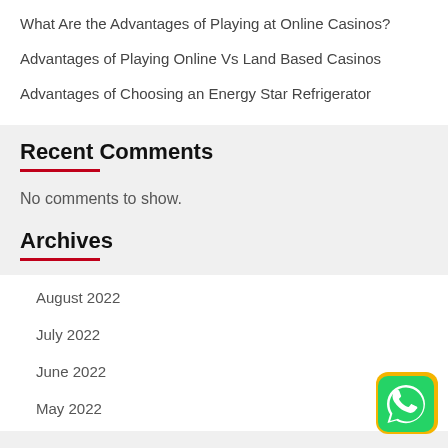What Are the Advantages of Playing at Online Casinos?
Advantages of Playing Online Vs Land Based Casinos
Advantages of Choosing an Energy Star Refrigerator
Recent Comments
No comments to show.
Archives
August 2022
July 2022
June 2022
May 2022